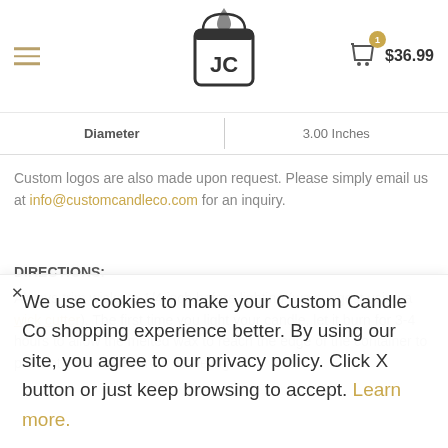Custom Candle Co — Navigation, Logo, Cart $36.99
| Diameter | 3.00 Inches |
| --- | --- |
Custom logos are also made upon request. Please simply email us at info@customcandleco.com for an inquiry.
DIRECTIONS:
Always trim wicks to 1/4 inch before lighting (we suggest using a wick cutter). The first time you light your candle, let it burn for 3-4 hours to allow the melted wax to reach the edge of the container to prevent your candle from tunneling.
We use cookies to make your Custom Candle Co shopping experience better. By using our site, you agree to our privacy policy. Click X button or just keep browsing to accept. Learn more.